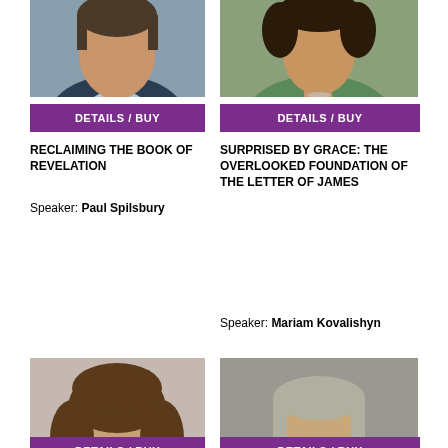[Figure (photo): Partial photo of male speaker (Paul Spilsbury) cropped at top]
[Figure (photo): Partial photo of female speaker (Mariam Kovalishyn) in green top cropped at top]
DETAILS / BUY
DETAILS / BUY
RECLAIMING THE BOOK OF REVELATION
Speaker: Paul Spilsbury
SURPRISED BY GRACE: THE OVERLOOKED FOUNDATION OF THE LETTER OF JAMES
Speaker: Mariam Kovalishyn
[Figure (photo): Photo of young woman with curly brown hair smiling, in green top]
[Figure (photo): Photo of older man with glasses and grey hair smiling, in tan jacket]
DETAILS / BUY
DETAILS / BUY